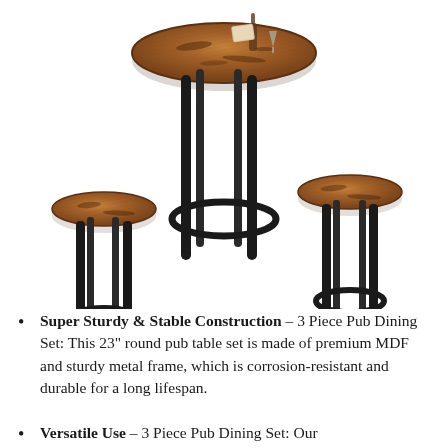[Figure (photo): Product photo of a 3-piece pub dining set featuring one round tall bar table with a rustic brown wood-grain top and black metal legs, accompanied by two matching round bar stools with the same rustic wood seats and black metal frames with circular footrests.]
Super Sturdy & Stable Construction – 3 Piece Pub Dining Set: This 23" round pub table set is made of premium MDF and sturdy metal frame, which is corrosion-resistant and durable for a long lifespan.
Versatile Use – 3 Piece Pub Dining Set: Our